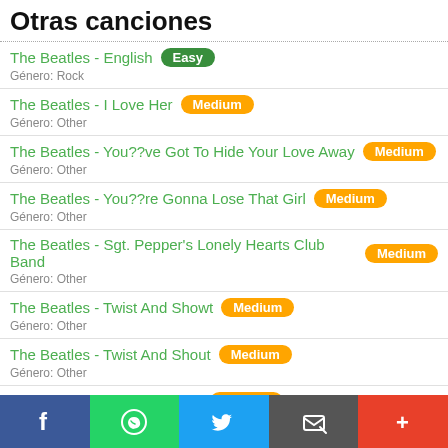Otras canciones
The Beatles - English [Easy] Género: Rock
The Beatles - I Love Her [Medium] Género: Other
The Beatles - You??ve Got To Hide Your Love Away [Medium] Género: Other
The Beatles - You??re Gonna Lose That Girl [Medium] Género: Other
The Beatles - Sgt. Pepper's Lonely Hearts Club Band [Medium] Género: Other
The Beatles - Twist And Showt [Medium] Género: Other
The Beatles - Twist And Shout [Medium] Género: Other
The Beatles - Thank You Girl [Medium] Género: Other
The Beatles - She Loves You [Medium] Género: Other
The Beatles - From Me To You [Medium] Género: Other
Facebook | WhatsApp | Twitter | Email | More